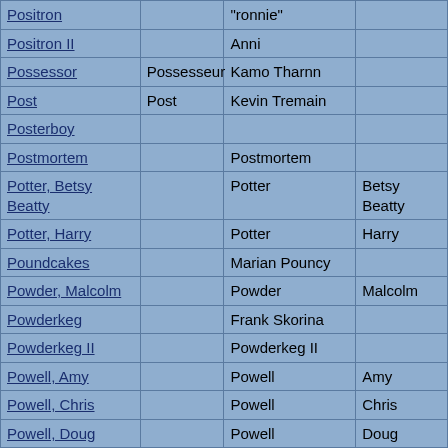| Name | Alt Name | Real Name | First/Last |
| --- | --- | --- | --- |
| Positron |  | "ronnie" |  |
| Positron II |  | Anni |  |
| Possessor | Possesseur | Kamo Tharnn |  |
| Post | Post | Kevin Tremain |  |
| Posterboy |  |  |  |
| Postmortem |  | Postmortem |  |
| Potter, Betsy Beatty |  | Potter | Betsy Beatty |
| Potter, Harry |  | Potter | Harry |
| Poundcakes |  | Marian Pouncy |  |
| Powder, Malcolm |  | Powder | Malcolm |
| Powderkeg |  | Frank Skorina |  |
| Powderkeg II |  | Powderkeg II |  |
| Powell, Amy |  | Powell | Amy |
| Powell, Chris |  | Powell | Chris |
| Powell, Doug |  | Powell | Doug |
| Powell, Gen. Colin |  | Powell | Colin |
| Powell, Grace |  | Powell | Grace |
| Powell, Jason |  | Powell | Jason |
| Powell, Jonathan |  | Powell | Jonathan |
| Powell, Officer |  | Powell | Officer |